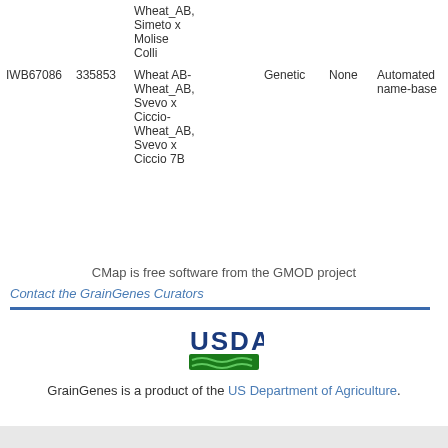|  |  | Wheat_AB, Simeto x Molise Colli |  |  |  |
| --- | --- | --- | --- | --- | --- |
| IWB67086 | 335853 | Wheat AB-Wheat_AB, Svevo x Ciccio-Wheat_AB, Svevo x Ciccio 7B | Genetic | None | Automated name-base... |
CMap is free software from the GMOD project
Contact the GrainGenes Curators
[Figure (logo): USDA logo with green bar]
GrainGenes is a product of the US Department of Agriculture.